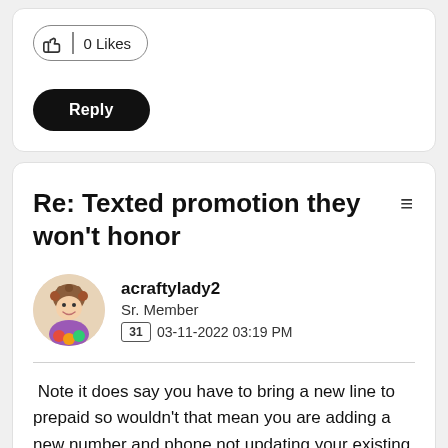[Figure (other): Like button showing '0 Likes' with thumbs up icon]
[Figure (other): Black Reply button]
Re: Texted promotion they won't honor
acraftylady2
Sr. Member
03-11-2022 03:19 PM
Note it does say you have to bring a new line to prepaid so wouldn't that mean you are adding a new number and phone not updating your existing prepaid with a new phone?  The select